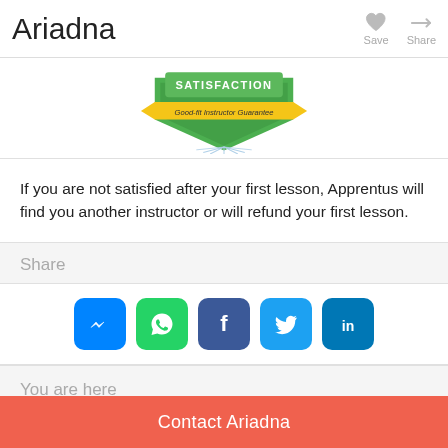Ariadna
[Figure (illustration): Satisfaction badge with green shield and yellow banner reading 'SATISFACTION / Good-fit Instructor Guarantee']
If you are not satisfied after your first lesson, Apprentus will find you another instructor or will refund your first lesson.
Share
[Figure (infographic): Row of five social media share icons: Messenger (blue rounded square), WhatsApp (green rounded square), Facebook (dark blue rounded square), Twitter (light blue rounded square), LinkedIn (blue rounded square)]
You are here
Contact Ariadna